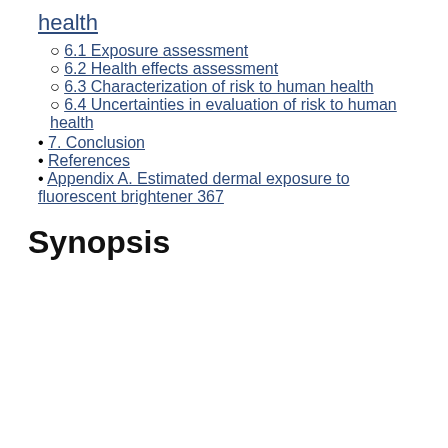health
6.1 Exposure assessment
6.2 Health effects assessment
6.3 Characterization of risk to human health
6.4 Uncertainties in evaluation of risk to human health
7. Conclusion
References
Appendix A. Estimated dermal exposure to fluorescent brightener 367
Synopsis